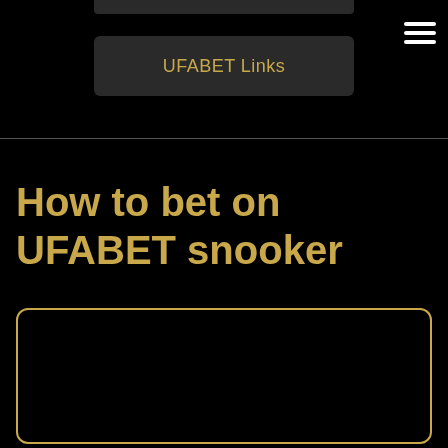UFABET Links
How to bet on UFABET snooker
[Figure (other): Dark rectangular image box with gold border and rounded corners, mostly black content area]